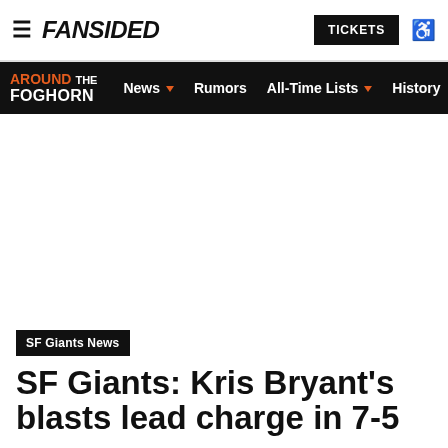FANSIDED | TICKETS
AROUND THE FOGHORN | News | Rumors | All-Time Lists | History
SF Giants News
SF Giants: Kris Bryant's blasts lead charge in 7-5